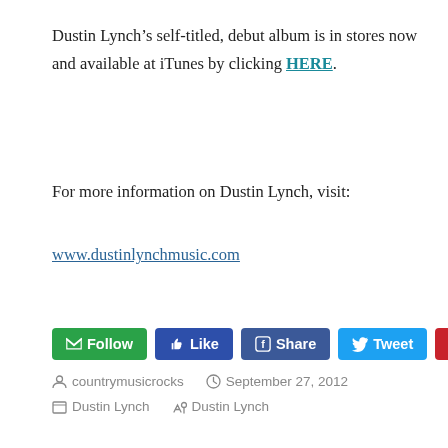Dustin Lynch’s self-titled, debut album is in stores now and available at iTunes by clicking HERE.
For more information on Dustin Lynch, visit:
www.dustinlynchmusic.com
[Figure (other): Social media action buttons: Follow (green), Like (dark blue), Share (Facebook blue), Tweet (Twitter blue), Save (Pinterest red)]
countrymusicrocks  September 27, 2012  Dustin Lynch  Dustin Lynch